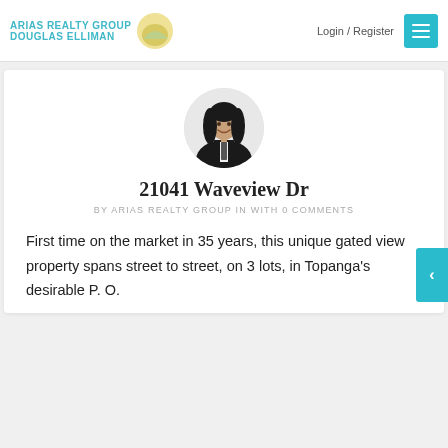ARIAS REALTY GROUP DOUGLAS ELLIMAN | Login / Register
[Figure (photo): Circular portrait photo of a woman with long dark hair, wearing a dark blazer, smiling]
21041 Waveview Dr
BY ARIAS REALTY GROUP IN WITH 0 COMMENTS
First time on the market in 35 years, this unique gated view property spans street to street, on 3 lots, in Topanga's desirable P. O.